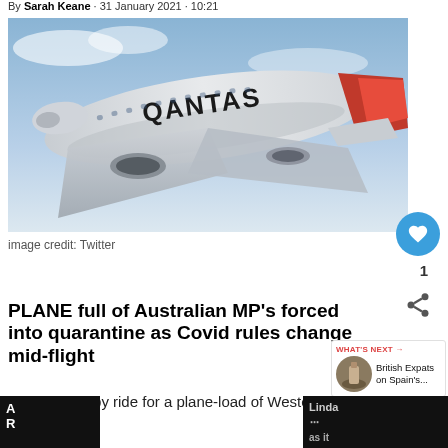By Sarah Keane · 31 January 2021 · 10:21
[Figure (photo): Qantas airplane seen from below, showing the underside of the fuselage and wings with the QANTAS livery and red tail, against a blue sky]
image credit: Twitter
PLANE full of Australian MP's forced into quarantine as Covid rules change mid-flight
[Figure (photo): Small circular thumbnail showing a rocky landscape, associated with 'WHAT'S NEXT' teaser for British Expats on Spain's...]
It was a bumpy ride for a plane-load of Western